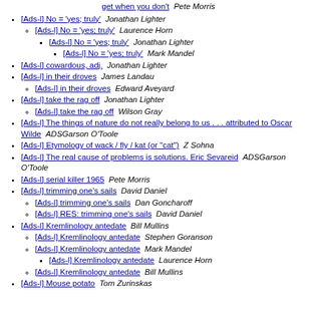get when you don't  Pete Morris
[Ads-l] No = 'yes; truly'  Jonathan Lighter
[Ads-l] No = 'yes; truly'  Laurence Horn
[Ads-l] No = 'yes; truly'  Jonathan Lighter
[Ads-l] No = 'yes; truly'  Mark Mandel
[Ads-l] cowardous, adj.  Jonathan Lighter
[Ads-l] in their droves  James Landau
[Ads-l] in their droves  Edward Aveyard
[Ads-l] take the rag off  Jonathan Lighter
[Ads-l] take the rag off  Wilson Gray
[Ads-l] The things of nature do not really belong to us . . . attributed to Oscar Wilde  ADSGarson O'Toole
[Ads-l] Etymology of wack / fly / kat (or "cat")  Z Sohna
[Ads-l] The real cause of problems is solutions. Eric Sevareid  ADSGarson O'Toole
[Ads-l] serial killer 1965  Pete Morris
[Ads-l] trimming one's sails  David Daniel
[Ads-l] trimming one's sails  Dan Goncharoff
[Ads-l] RES: trimming one's sails  David Daniel
[Ads-l] Kremlinology antedate  Bill Mullins
[Ads-l] Kremlinology antedate  Stephen Goranson
[Ads-l] Kremlinology antedate  Mark Mandel
[Ads-l] Kremlinology antedate  Laurence Horn
[Ads-l] Kremlinology antedate  Bill Mullins
[Ads-l] Mouse potato  Tom Zurinskas